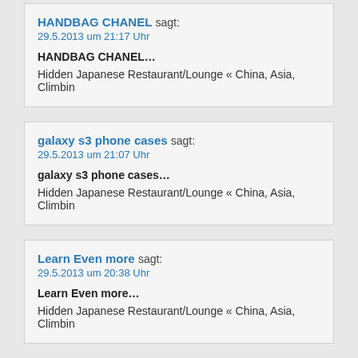HANDBAG CHANEL sagt:
29.5.2013 um 21:17 Uhr
HANDBAG CHANEL...
Hidden Japanese Restaurant/Lounge « China, Asia, Climbin
galaxy s3 phone cases sagt:
29.5.2013 um 21:07 Uhr
galaxy s3 phone cases...
Hidden Japanese Restaurant/Lounge « China, Asia, Climbin
Learn Even more sagt:
29.5.2013 um 20:38 Uhr
Learn Even more...
Hidden Japanese Restaurant/Lounge « China, Asia, Climbin
mackeeper review sagt:
29.5.2013 um 18:47 Uhr
mackeeper review...